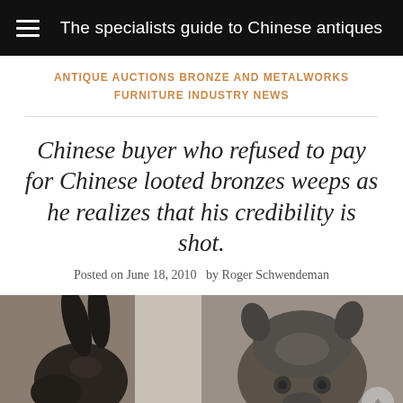The specialists guide to Chinese antiques
ANTIQUE AUCTIONS BRONZE AND METALWORKS FURNITURE INDUSTRY NEWS
Chinese buyer who refused to pay for Chinese looted bronzes weeps as he realizes that his credibility is shot.
Posted on June 18, 2010  by Roger Schwendeman
[Figure (photo): Two Chinese bronze animal head sculptures side by side: left shows a rabbit/hare head bronze in profile, right shows a rat/mouse head bronze facing forward.]